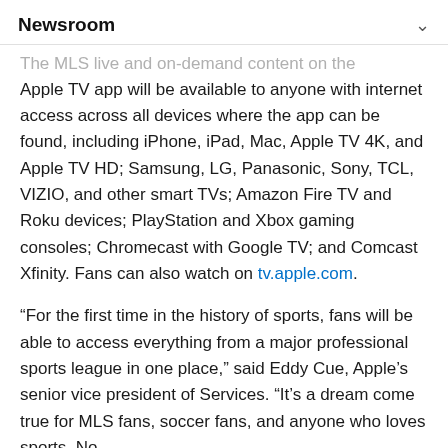Newsroom
The MLS live and on-demand content on the Apple TV app will be available to anyone with internet access across all devices where the app can be found, including iPhone, iPad, Mac, Apple TV 4K, and Apple TV HD; Samsung, LG, Panasonic, Sony, TCL, VIZIO, and other smart TVs; Amazon Fire TV and Roku devices; PlayStation and Xbox gaming consoles; Chromecast with Google TV; and Comcast Xfinity. Fans can also watch on tv.apple.com.
“For the first time in the history of sports, fans will be able to access everything from a major professional sports league in one place,” said Eddy Cue, Apple’s senior vice president of Services. “It’s a dream come true for MLS fans, soccer fans, and anyone who loves sports. No